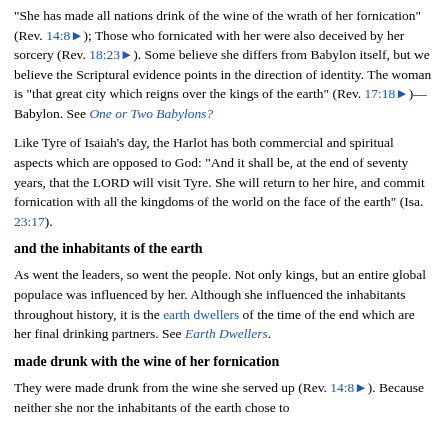“She has made all nations drink of the wine of the wrath of her fornication” (Rev. 14:8►); Those who fornicated with her were also deceived by her sorcery (Rev. 18:23►). Some believe she differs from Babylon itself, but we believe the Scriptural evidence points in the direction of identity. The woman is “that great city which reigns over the kings of the earth” (Rev. 17:18►)—Babylon. See One or Two Babylons?
Like Tyre of Isaiah’s day, the Harlot has both commercial and spiritual aspects which are opposed to God: “And it shall be, at the end of seventy years, that the LORD will visit Tyre. She will return to her hire, and commit fornication with all the kingdoms of the world on the face of the earth” (Isa. 23:17).
and the inhabitants of the earth
As went the leaders, so went the people. Not only kings, but an entire global populace was influenced by her. Although she influenced the inhabitants throughout history, it is the earth dwellers of the time of the end which are her final drinking partners. See Earth Dwellers.
made drunk with the wine of her fornication
They were made drunk from the wine she served up (Rev. 14:8►). Because neither she nor the inhabitants of the earth chose to